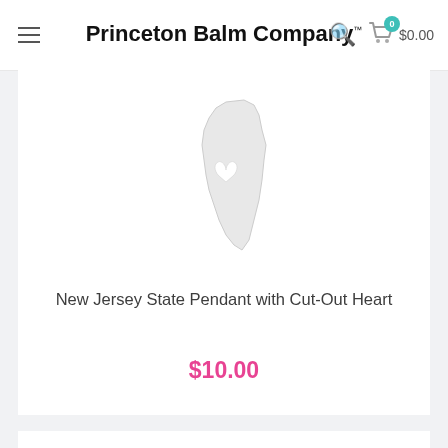Princeton Balm Company™
[Figure (illustration): New Jersey state shape silhouette pendant with a cut-out heart, white/light gray color on white background]
New Jersey State Pendant with Cut-Out Heart
$10.00